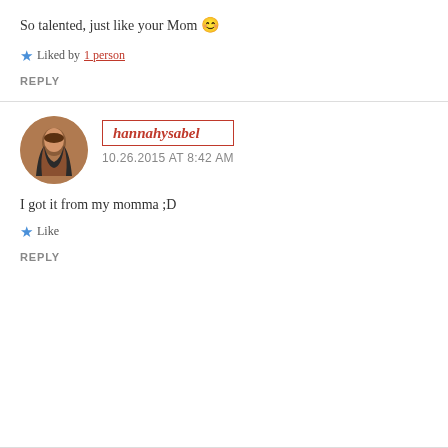So talented, just like your Mom 😊
★ Liked by 1 person
REPLY
hannahysabel
10.26.2015 AT 8:42 AM
I got it from my momma ;D
★ Like
REPLY